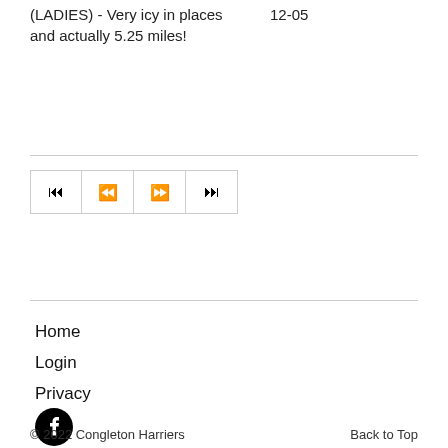(LADIES) - Very icy in places and actually 5.25 miles!	12-05
[Figure (other): Pagination navigation buttons: skip to first, previous, next, skip to last]
Home
Login
Privacy
[Figure (logo): Facebook logo icon - black circle with white F]
© 2022 Congleton Harriers    Back to Top